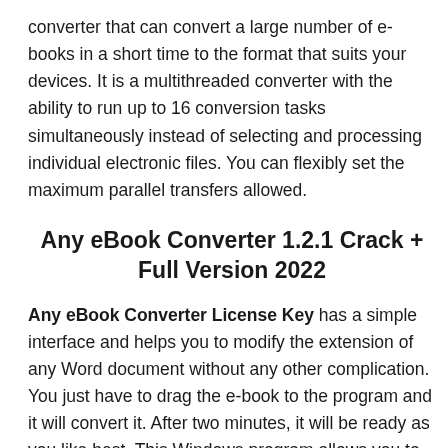converter that can convert a large number of e-books in a short time to the format that suits your devices. It is a multithreaded converter with the ability to run up to 16 conversion tasks simultaneously instead of selecting and processing individual electronic files. You can flexibly set the maximum parallel transfers allowed.
Any eBook Converter 1.2.1 Crack + Full Version 2022
Any eBook Converter License Key has a simple interface and helps you to modify the extension of any Word document without any other complication. You just have to drag the e-book to the program and it will convert it. After two minutes, it will be ready as you like best. This Windows program allows you to choose the destination file where you want to save your conversions. The tool is compatible with EPUB, PDF, TXT, MOBI, and AZW3.